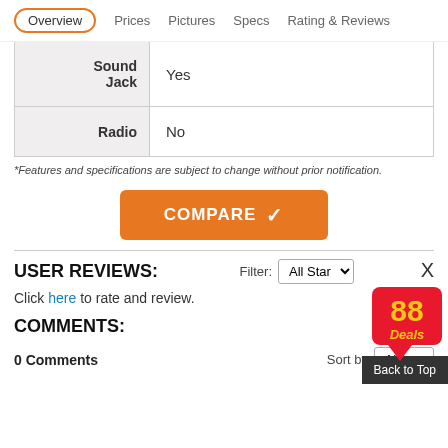Overview | Prices | Pictures | Specs | Rating & Reviews
| Feature | Value |
| --- | --- |
| Sound Jack | Yes |
| Radio | No |
*Features and specifications are subject to change without prior notification.
[Figure (other): Orange COMPARE button with checkmark]
USER REVIEWS:
Click here to rate and review.
COMMENTS:
0 Comments    Sort by Newest